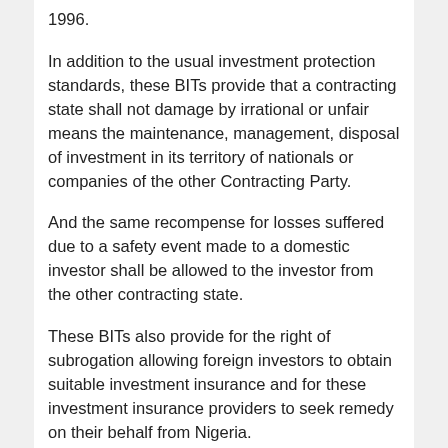1996.
In addition to the usual investment protection standards, these BITs provide that a contracting state shall not damage by irrational or unfair means the maintenance, management, disposal of investment in its territory of nationals or companies of the other Contracting Party.
And the same recompense for losses suffered due to a safety event made to a domestic investor shall be allowed to the investor from the other contracting state.
These BITs also provide for the right of subrogation allowing foreign investors to obtain suitable investment insurance and for these investment insurance providers to seek remedy on their behalf from Nigeria.
The BITs that are presently in force have also made satisfactory requirements for the standard investment protection. These include fair and equitable treatment, umbrella clauses, most favoured nation status, national treatment, obligations against arbitrary and